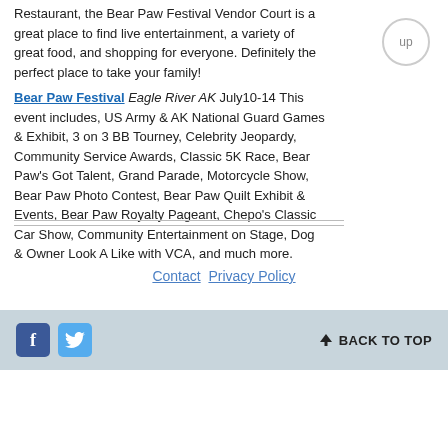Restaurant, the Bear Paw Festival Vendor Court is a great place to find live entertainment, a variety of great food, and shopping for everyone. Definitely the perfect place to take your family!
Bear Paw Festival Eagle River AK July10-14 This event includes, US Army & AK National Guard Games & Exhibit, 3 on 3 BB Tourney, Celebrity Jeopardy, Community Service Awards, Classic 5K Race, Bear Paw's Got Talent, Grand Parade, Motorcycle Show, Bear Paw Photo Contest, Bear Paw Quilt Exhibit & Events, Bear Paw Royalty Pageant, Chepo's Classic Car Show, Community Entertainment on Stage, Dog & Owner Look A Like with VCA, and much more.
[Figure (other): Up button - circular button with 'up' text]
Contact  Privacy Policy
Facebook icon  Twitter icon  BACK TO TOP